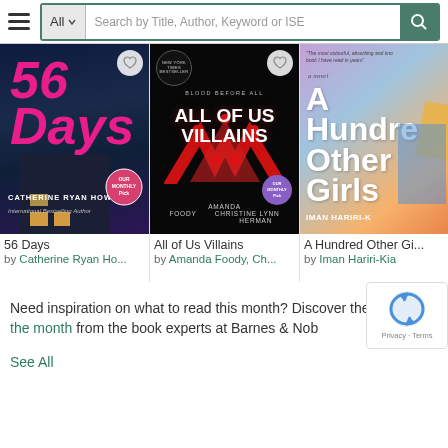[Figure (screenshot): Search bar with hamburger menu, All dropdown, search input placeholder 'Search by Title, Author, Keyword or ISE', and teal search button with magnifying glass icon]
[Figure (photo): Book cover for '56 Days' by Catherine Ryan Howard - dark purple/blue background with pink stylized title and city lights]
56 Days
by Catherine Ryan Ho...
[Figure (photo): Book cover for 'All of Us Villains' by Amanda Foody and Christine Lynn Herman - dark cover with red hands forming a triangle, New York Times Bestseller badge]
All of Us Villains
by Amanda Foody, Ch...
[Figure (photo): Book cover for 'A Hundred Other Girls' by Iman Hariri-Kia - colorful cover with purple, blue, and orange colors, partial view]
A Hundred Other Gi...
by Iman Hariri-Kia
Need inspiration on what to read this month? Discover the picks of the month from the book experts at Barnes & Nob
See All